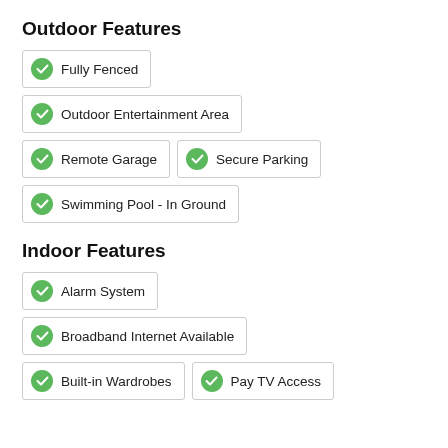Outdoor Features
Fully Fenced
Outdoor Entertainment Area
Remote Garage
Secure Parking
Swimming Pool - In Ground
Indoor Features
Alarm System
Broadband Internet Available
Built-in Wardrobes
Pay TV Access